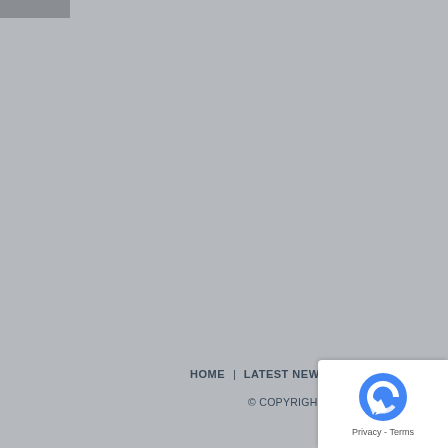[Figure (other): Small dark gray rectangle in the top-left corner, likely a partially visible image or UI element]
HOME | LATEST NEWS | SCHEDULE |
© COPYRIGHT 2022 JET
[Figure (other): reCAPTCHA badge overlay in bottom-right corner with reCAPTCHA logo, Privacy and Terms links]